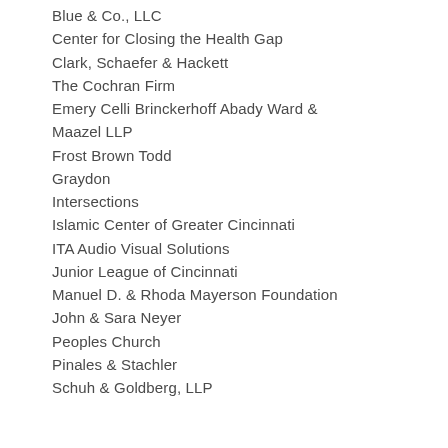Blue & Co., LLC
Center for Closing the Health Gap
Clark, Schaefer & Hackett
The Cochran Firm
Emery Celli Brinckerhoff Abady Ward & Maazel LLP
Frost Brown Todd
Graydon
Intersections
Islamic Center of Greater Cincinnati
ITA Audio Visual Solutions
Junior League of Cincinnati
Manuel D. & Rhoda Mayerson Foundation
John & Sara Neyer
Peoples Church
Pinales & Stachler
Schuh & Goldberg, LLP